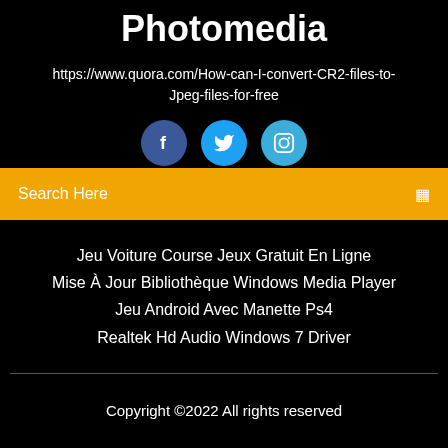Photomedia
https://www.quora.com/How-can-I-convert-CR2-files-to-Jpeg-files-for-free
[Figure (other): Three social media icon buttons: Facebook (dark blue circle with 'f'), Twitter (blue circle with bird icon), Instagram (light blue circle with camera icon)]
Search Here
Jeu Voiture Course Jeux Gratuit En Ligne
Mise À Jour Bibliothèque Windows Media Player
Jeu Android Avec Manette Ps4
Realtek Hd Audio Windows 7 Driver
Copyright ©2022 All rights reserved